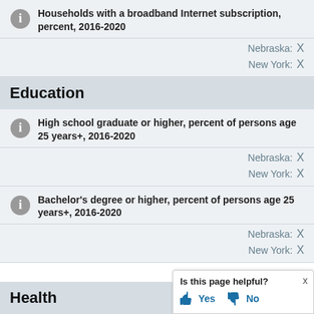Households with a broadband Internet subscription, percent, 2016-2020
Nebraska: X
New York: X
Education
High school graduate or higher, percent of persons age 25 years+, 2016-2020
Nebraska: X
New York: X
Bachelor's degree or higher, percent of persons age 25 years+, 2016-2020
Nebraska: X
New York: X
Health
Is this page helpful? Yes No